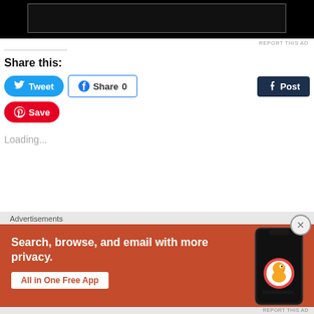[Figure (screenshot): Black advertisement banner at the top of the page with a dark inner rectangle outline]
REPORT THIS AD
Share this:
[Figure (screenshot): Social share buttons: Tweet (Twitter, blue), Share 0 (Facebook, outlined blue), Post (Tumblr, dark navy), Save (Pinterest, red)]
Loading...
Advertisements
[Figure (screenshot): DuckDuckGo advertisement banner with orange/red background. Text: Search, browse, and email with more privacy. All in One Free App. DuckDuckGo logo and phone image on the right.]
REPORT THIS AD